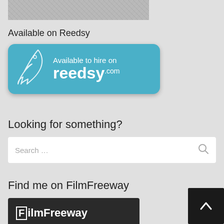[Figure (photo): Partial view of a grey fabric or textile, cropped at top of page]
Available on Reedsy
[Figure (logo): Reedsy.com 'Available to hire on reedsy.com' badge button in teal/blue color with feather pen icon]
Looking for something?
[Figure (screenshot): Search input box with placeholder text 'Search ...' and a magnifying glass icon on the right]
Find me on FilmFreeway
[Figure (logo): FilmFreeway logo on dark background]